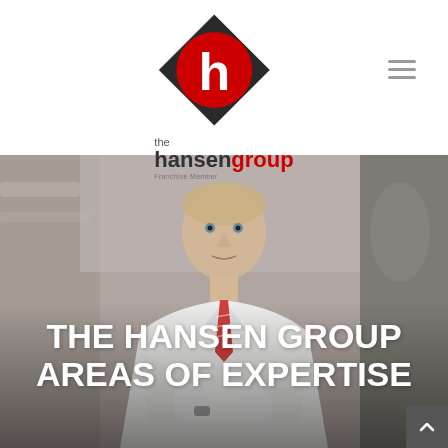[Figure (logo): The Hansen Group logo: a diamond shape in black with a red circle containing a white lowercase 'h', with text 'the hansen group' below and 'Franchise Member' in small text]
[Figure (photo): A man in a white chef's coat with arms crossed, standing in what appears to be a restaurant kitchen, with blurred equipment in the background. The photo has a muted, slightly warm tone.]
THE HANSEN GROUP AREAS OF EXPERTISE